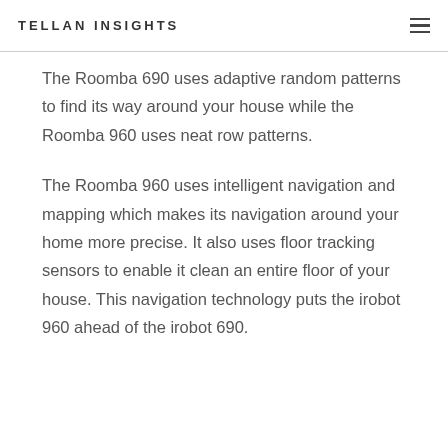TELLAN INSIGHTS
The Roomba 690 uses adaptive random patterns to find its way around your house while the Roomba 960 uses neat row patterns.
The Roomba 960 uses intelligent navigation and mapping which makes its navigation around your home more precise. It also uses floor tracking sensors to enable it clean an entire floor of your house. This navigation technology puts the irobot 960 ahead of the irobot 690.